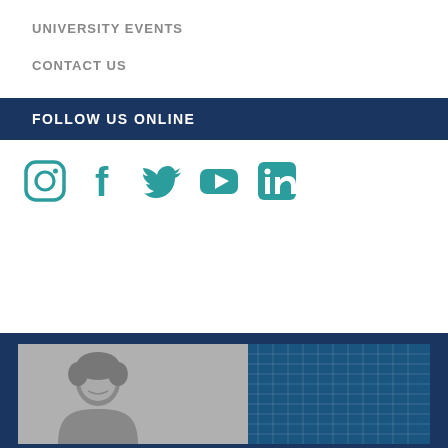UNIVERSITY EVENTS
CONTACT US
FOLLOW US ONLINE
[Figure (infographic): Social media icons: Instagram, Facebook, Twitter, YouTube, LinkedIn in teal/dark cyan color]
[Figure (photo): Black and white photo of a person (woman with curly hair) smiling, working at a laptop, with a blue book/object visible on the right side]